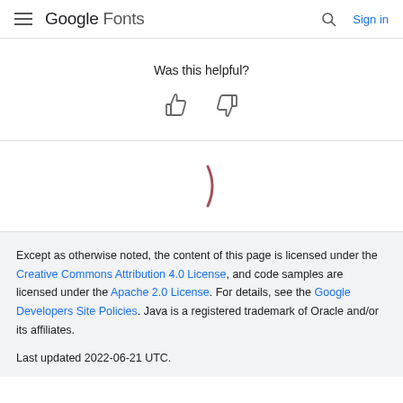Google Fonts  Sign in
Was this helpful?
[Figure (other): Thumbs up and thumbs down icons for feedback]
[Figure (other): Loading spinner (partial arc, dark pink/mauve color)]
Except as otherwise noted, the content of this page is licensed under the Creative Commons Attribution 4.0 License, and code samples are licensed under the Apache 2.0 License. For details, see the Google Developers Site Policies. Java is a registered trademark of Oracle and/or its affiliates.

Last updated 2022-06-21 UTC.